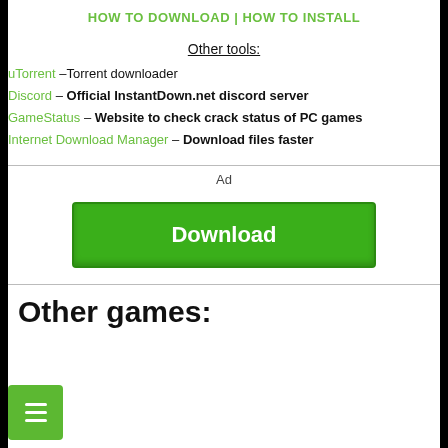HOW TO DOWNLOAD | HOW TO INSTALL
Other tools:
uTorrent - Torrent downloader
Discord - Official InstantDown.net discord server
GameStatus - Website to check crack status of PC games
Internet Download Manager - Download files faster
Ad
[Figure (other): Green Download button advertisement]
Other games: